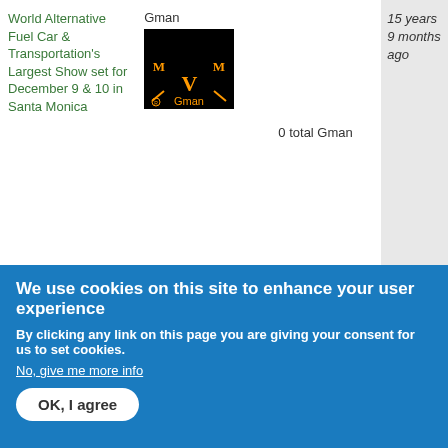| Title | Author | Replies | Last post |
| --- | --- | --- | --- |
| World Alternative Fuel Car & Transportation's Largest Show set for December 9 & 10 in Santa Monica | Gman / [logo] / 0 total Gman | 0 total Gman | 15 years 9 months ago |
| World Alternative Fuel Car & Transportation's Largest Show set for December 9 & 10 in Santa Monica | Gman / [logo] / 0 total Gman | 0 total Gman | 15 years 9 months ago |
| V is for Voltage Recovery | Gman / [logo] / 3 total Gman | 3 total Gman | 15 years 9 months ago |
We use cookies on this site to enhance your user experience
By clicking any link on this page you are giving your consent for us to set cookies.
No, give me more info
OK, I agree